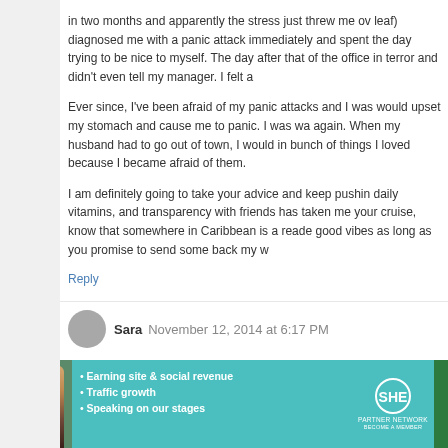in two months and apparently the stress just threw me over (leaf) diagnosed me with a panic attack immediately and spent the day trying to be nice to myself. The day after that of the office in terror and didn't even tell my manager. I felt a
Ever since, I've been afraid of my panic attacks and I was would upset my stomach and cause me to panic. I was wa again. When my husband had to go out of town, I would in bunch of things I loved because I became afraid of them.
I am definitely going to take your advice and keep pushin daily vitamins, and transparency with friends has taken me your cruise, know that somewhere in Caribbean is a reade good vibes as long as you promise to send some back my w
Reply
Sara  November 12, 2014 at 6:17 PM
Also, here is a really really fantastic poem about anxiety tha
https://www.youtube.com/watch?v=gVEf6jS8GdU
Reply
[Figure (infographic): SHE Partner Network advertisement banner with teal background, woman photo, bullet points: Earning site & social revenue, Traffic growth, Speaking on our stages, SHE logo, LEARN MORE green button]